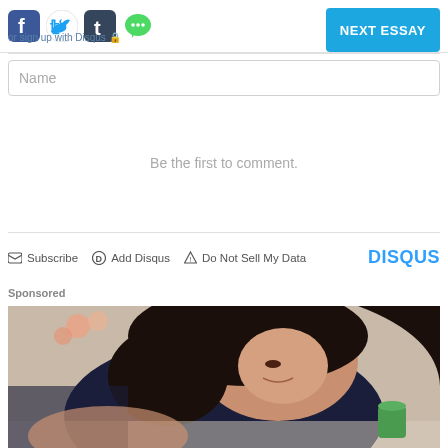[Figure (screenshot): Top bar with social media icons (Facebook, Twitter, Tumblr, Chat) and a blue NEXT ESSAY button. Below icons: 'or sign up with Disqus' text.]
or sign up with Disqus
Name
Be the first to comment.
Subscribe   Add Disqus   Do Not Sell My Data   DISQUS
Sponsored
[Figure (photo): Woman with dark hair leaning over a surface, wearing navy top, partially in frame with flowers in background and a green cup visible at lower right.]